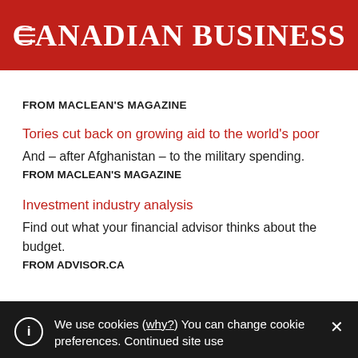CANADIAN BUSINESS
FROM MACLEAN'S MAGAZINE
Tories cut back on growing aid to the world's poor
And – after Afghanistan – to the military spending.
FROM MACLEAN'S MAGAZINE
Investment industry analysis
Find out what your financial advisor thinks about the budget.
FROM ADVISOR.CA
We use cookies (why?) You can change cookie preferences. Continued site use